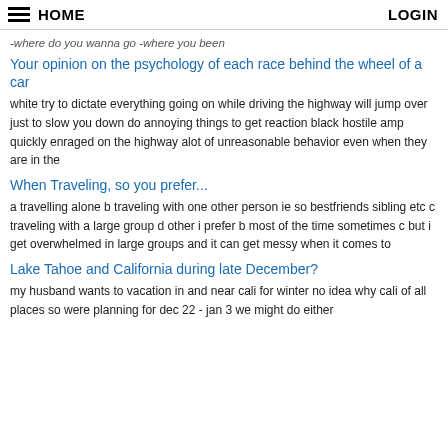HOME  LOGIN
-where do you wanna go -where you been
Your opinion on the psychology of each race behind the wheel of a car
white try to dictate everything going on while driving the highway will jump over just to slow you down do annoying things to get reaction black hostile amp quickly enraged on the highway alot of unreasonable behavior even when they are in the
When Traveling, so you prefer...
a travelling alone b traveling with one other person ie so bestfriends sibling etc c traveling with a large group d other i prefer b most of the time sometimes c but i get overwhelmed in large groups and it can get messy when it comes to
Lake Tahoe and California during late December?
my husband wants to vacation in and near cali for winter no idea why cali of all places so were planning for dec 22 - jan 3 we might do either